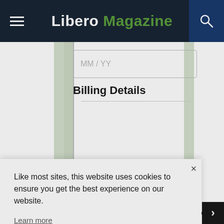Libero Magazine
MM / YY
Billing Details
Like most sites, this website uses cookies to ensure you get the best experience on our website.
Learn more
Decline
Accept